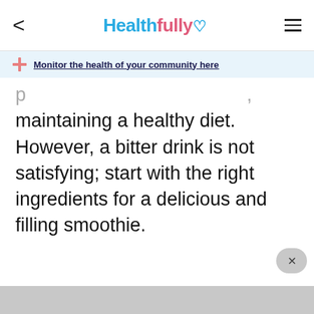Healthfully
Monitor the health of your community here
maintaining a healthy diet. However, a bitter drink is not satisfying; start with the right ingredients for a delicious and filling smoothie.